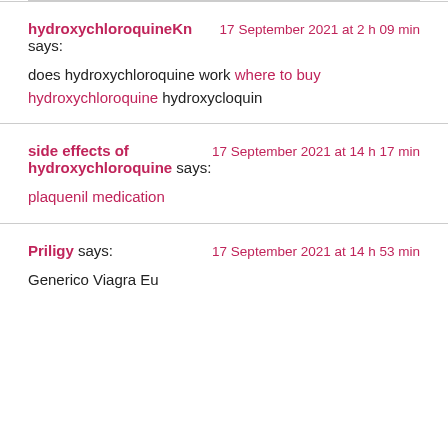hydroxychloroquineKn says: [author] 17 September 2021 at 2 h 09 min
does hydroxychloroquine work where to buy hydroxychloroquine hydroxycloquin
side effects of hydroxychloroquine says: 17 September 2021 at 14 h 17 min
plaquenil medication
Priligy says: 17 September 2021 at 14 h 53 min
Generico Viagra Eu